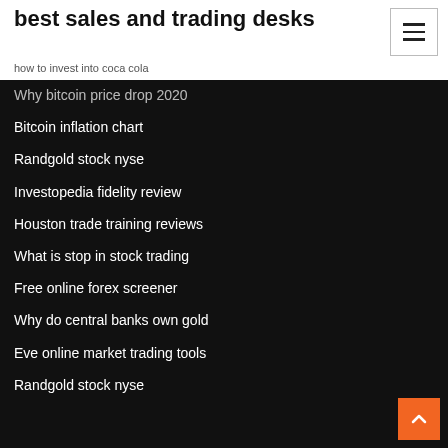best sales and trading desks
how to invest into coca cola
Why bitcoin price drop 2020
Bitcoin inflation chart
Randgold stock nyse
Investopedia fidelity review
Houston trade training reviews
What is stop in stock trading
Free online forex screener
Why do central banks own gold
Eve online market trading tools
Randgold stock nyse